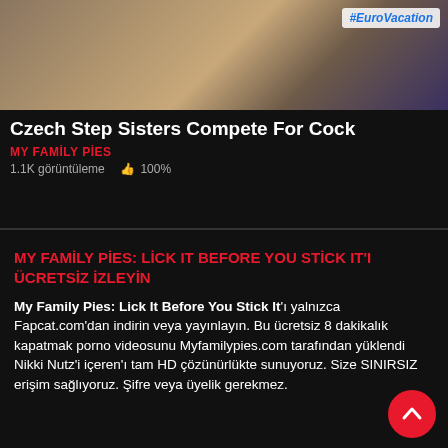[Figure (screenshot): Video thumbnail showing people, with #EuroVacation watermark overlay]
Czech Step Sisters Compete For Cock
MY FAMİLY PİES
1.1K görüntüleme  👍 100%
MY FAMİLY PİES: LİCK IT BEFORE YOU STİCK IT'I ÜCRETSİZ İZLEYİN
My Family Pies: Lick It Before You Stick It'ı yalnızca Fapcat.com'dan indirin veya yayınlayın. Bu ücretsiz 8 dakikalık kapatmak porno videosunu Myfamilypies.com tarafından yüklendi Nikki Nutz'i içeren'ı tam HD çözünürlükte sunuyoruz. Size SINIRSIZ erişim sağlıyoruz. Şifre veya üyelik gerekmez.